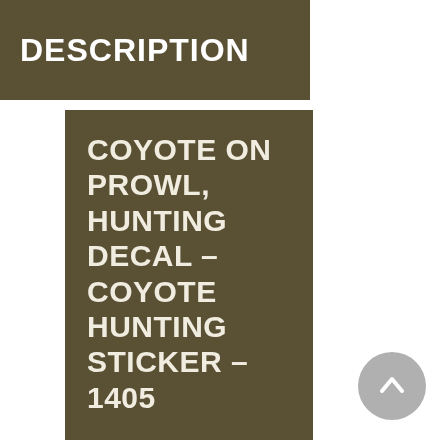DESCRIPTION
COYOTE ON PROWL, HUNTING DECAL – COYOTE HUNTING STICKER – 1405
[Figure (illustration): Gray circular scroll-to-top button with upward chevron arrow icon]